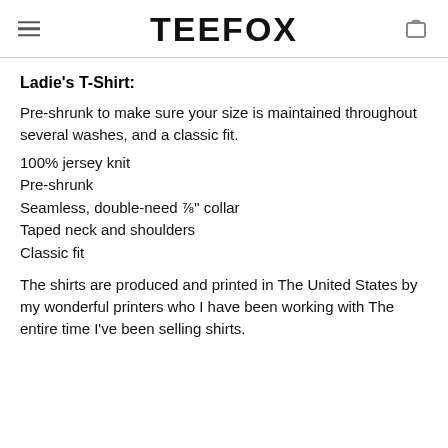TEEFOX
Ladie’s T-Shirt:
Pre-shrunk to make sure your size is maintained throughout several washes, and a classic fit.
100% jersey knit
Pre-shrunk
Seamless, double-need ⅞” collar
Taped neck and shoulders
Classic fit
The shirts are produced and printed in The United States by my wonderful printers who I have been working with The entire time I’ve been selling shirts.